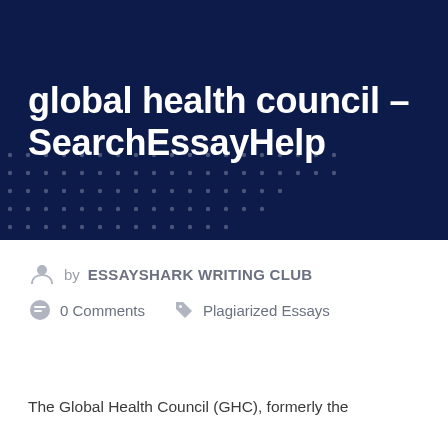global health council - SearchEssayHelp
by ESSAYSHARK WRITING CLUB
0 Comments   Plagiarized Essays
The Global Health Council (GHC), formerly the